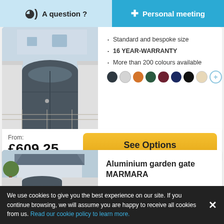A question ?  |  Personal meeting
Standard and bespoke size
16 YEAR-WARRANTY
More than 200 colours available
From: £609.25
See Options
Aluminium garden gate MARMARA
We use cookies to give you the best experience on our site. If you continue browsing, we will assume you are happy to receive all cookies from us. Read our cookie policy to learn more.